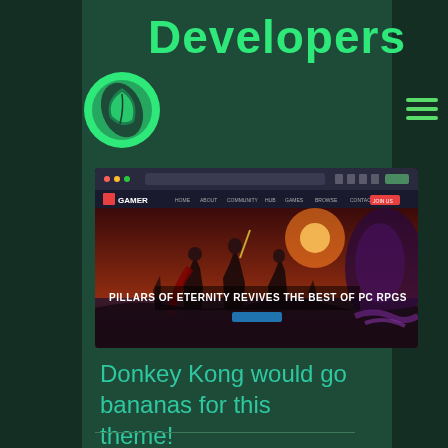Developers
[Figure (logo): Green circular logo with a leaf/plant icon]
[Figure (screenshot): Screenshot of a gaming website called GAMER showing a fantasy RPG game image with text 'PILLARS OF ETERNITY REVIVES THE BEST OF PC RPGS']
Donkey Kong would go bananas for this theme!